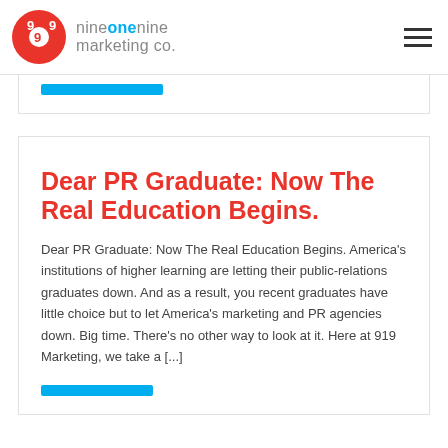nineonenine marketing co.
Dear PR Graduate: Now The Real Education Begins.
Dear PR Graduate: Now The Real Education Begins. America's institutions of higher learning are letting their public-relations graduates down. And as a result, you recent graduates have little choice but to let America's marketing and PR agencies down. Big time. There's no other way to look at it. Here at 919 Marketing, we take a [...]